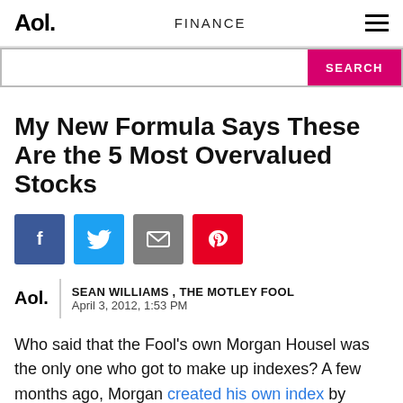Aol. FINANCE
My New Formula Says These Are the 5 Most Overvalued Stocks
[Figure (other): Social sharing buttons: Facebook, Twitter, Email, Pinterest]
SEAN WILLIAMS , THE MOTLEY FOOL
April 3, 2012, 1:53 PM
Who said that the Fool's own Morgan Housel was the only one who got to make up indexes? A few months ago, Morgan created his own index by looking at a